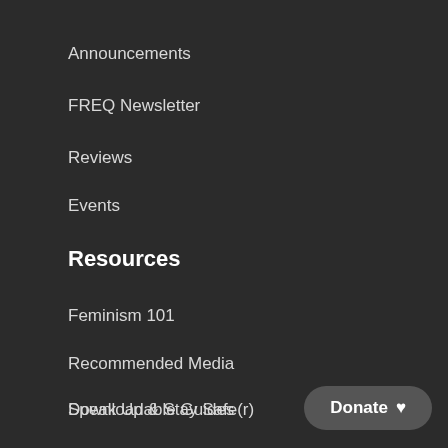Announcements
FREQ Newsletter
Reviews
Events
Resources
Feminism 101
Recommended Media
Downloadable Guides
Speak Up & Stay Safe(r)
Donate ♥